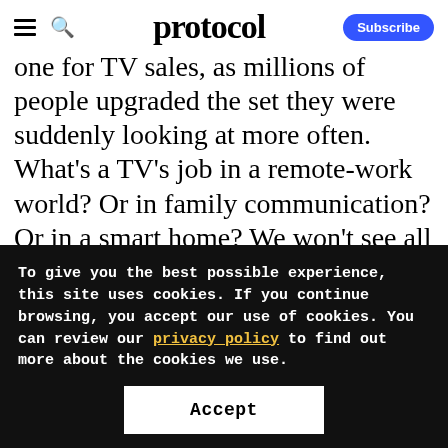protocol
one for TV sales, as millions of people upgraded the set they were suddenly looking at more often. What's a TV's job in a remote-work world? Or in family communication? Or in a smart home? We won't see all the products to answer those questions — manufacturing cycles are still long — but we'll get an idea about what's being planned
To give you the best possible experience, this site uses cookies. If you continue browsing, you accept our use of cookies. You can review our privacy policy to find out more about the cookies we use.
Accept